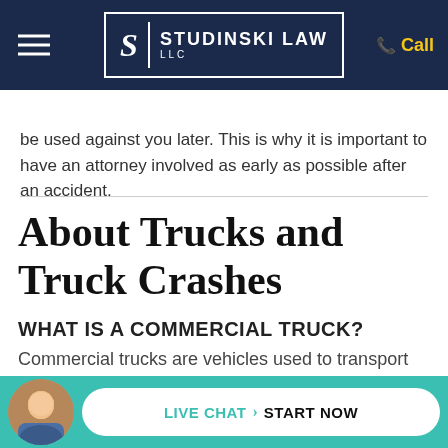STUDINSKI LAW LLC
be used against you later. This is why it is important to have an attorney involved as early as possible after an accident.
About Trucks and Truck Crashes
WHAT IS A COMMERCIAL TRUCK?
Commercial trucks are vehicles used to transport goods...
[Figure (other): Live chat widget with agent avatar and 'LIVE CHAT > START NOW' button in teal bar at bottom of page]